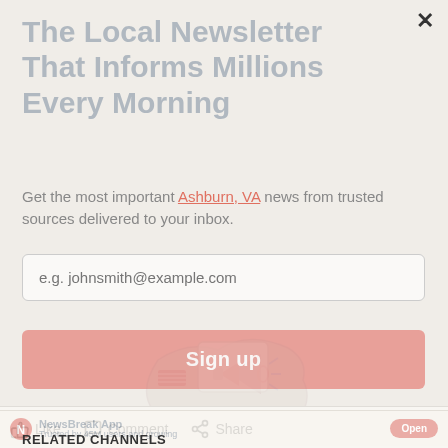The Local Newsletter That Informs Millions Every Morning
Get the most important Ashburn, VA news from trusted sources delivered to your inbox.
[Figure (screenshot): Email input field with placeholder text 'e.g. johnsmith@example.com']
[Figure (screenshot): Sign up button in salmon/pink color]
[Figure (logo): NewsBreak app watermark logo with US map and megaphone icon]
Like  Comment  Share
NewsBreak App
Trusted by 45M users and growing
RELATED CHANNELS